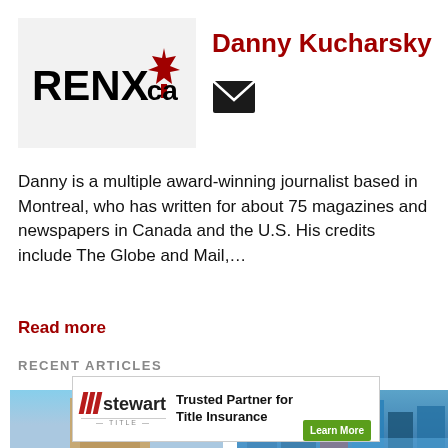[Figure (logo): RENX.ca logo with red maple leaf on grey background]
Danny Kucharsky
[Figure (other): Email envelope icon]
Danny is a multiple award-winning journalist based in Montreal, who has written for about 75 magazines and newspapers in Canada and the U.S. His credits include The Globe and Mail,...
Read more
RECENT ARTICLES
[Figure (photo): Photo of a building with blue sky]
[Figure (photo): Aerial photo of city buildings near water]
[Figure (other): Stewart Title advertisement: Trusted Partner for Title Insurance, Learn More button]